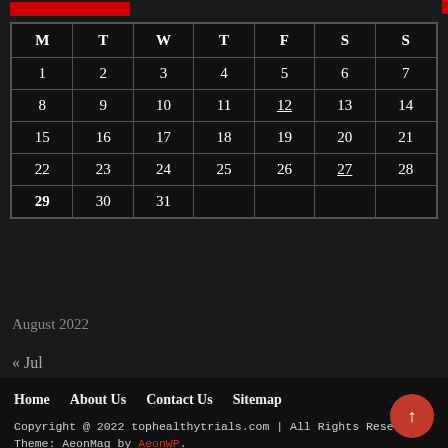| M | T | W | T | F | S | S |
| --- | --- | --- | --- | --- | --- | --- |
| 1 | 2 | 3 | 4 | 5 | 6 | 7 |
| 8 | 9 | 10 | 11 | 12 | 13 | 14 |
| 15 | 16 | 17 | 18 | 19 | 20 | 21 |
| 22 | 23 | 24 | 25 | 26 | 27 | 28 |
| 29 | 30 | 31 |  |  |  |  |
August 2022
« Jul
Home   About Us   Contact Us   Sitemap
Copyright @ 2022 tophealthytrials.com | All Rights Reserved
Theme: AeonMag by AeonWP.